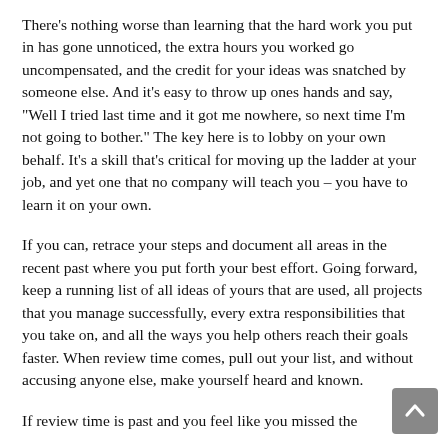There's nothing worse than learning that the hard work you put in has gone unnoticed, the extra hours you worked go uncompensated, and the credit for your ideas was snatched by someone else. And it's easy to throw up ones hands and say, "Well I tried last time and it got me nowhere, so next time I'm not going to bother." The key here is to lobby on your own behalf. It's a skill that's critical for moving up the ladder at your job, and yet one that no company will teach you – you have to learn it on your own.
If you can, retrace your steps and document all areas in the recent past where you put forth your best effort. Going forward, keep a running list of all ideas of yours that are used, all projects that you manage successfully, every extra responsibilities that you take on, and all the ways you help others reach their goals faster. When review time comes, pull out your list, and without accusing anyone else, make yourself heard and known.
If review time is past and you feel like you missed the